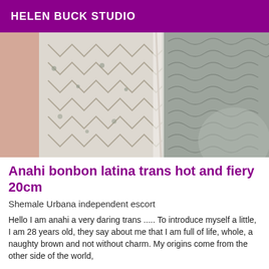HELEN BUCK STUDIO
[Figure (photo): Close-up photo of clothing/fabric with patterned textile - grey and white geometric and floral patterns on what appears to be lingerie or similar garment]
Anahi bonbon latina trans hot and fiery 20cm
Shemale Urbana independent escort
Hello I am anahi a very daring trans ..... To introduce myself a little, I am 28 years old, they say about me that I am full of life, whole, a naughty brown and not without charm. My origins come from the other side of the world,